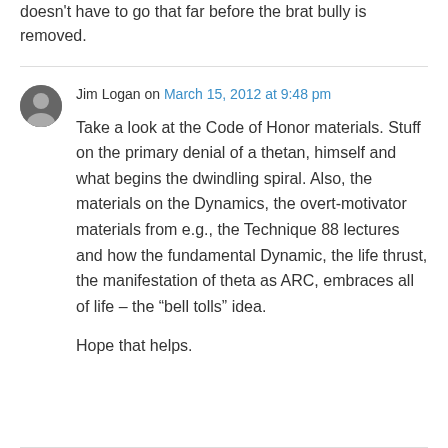doesn't have to go that far before the brat bully is removed.
Jim Logan on March 15, 2012 at 9:48 pm
Take a look at the Code of Honor materials. Stuff on the primary denial of a thetan, himself and what begins the dwindling spiral. Also, the materials on the Dynamics, the overt-motivator materials from e.g., the Technique 88 lectures and how the fundamental Dynamic, the life thrust, the manifestation of theta as ARC, embraces all of life – the “bell tolls” idea.
Hope that helps.